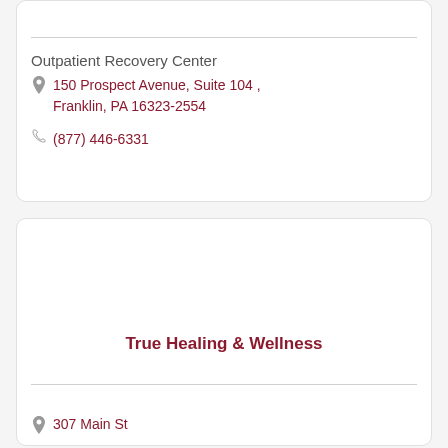Outpatient Recovery Center
150 Prospect Avenue, Suite 104 , Franklin, PA 16323-2554
(877) 446-6331
True Healing & Wellness
307 Main St